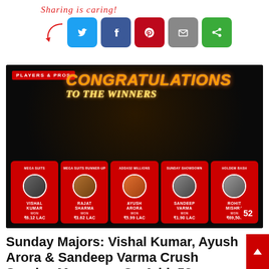[Figure (infographic): Sharing is caring! social sharing buttons: Twitter (blue), Facebook (dark blue), Pinterest (red), Email (grey), Share (green)]
[Figure (infographic): Congratulations To the Winners banner with 5 poker winners on Adda52: Vishal Kumar won ₹6.12 LAC (Mega Suits), Rajat Sharma won ₹3.62 LAC (Mega Suits Runner-Up), Ayush Arora won ₹5.99 LAC (Adda52 Millions), Sandeep Varma won ₹1.90 LAC (Sunday Showdown), Rohit Mishra won ₹69,500 (Holdem Bash). Adda52 logo badge with number 52.]
Sunday Majors: Vishal Kumar, Ayush Arora & Sandeep Varma Crush Sunday Marquees On Adda52